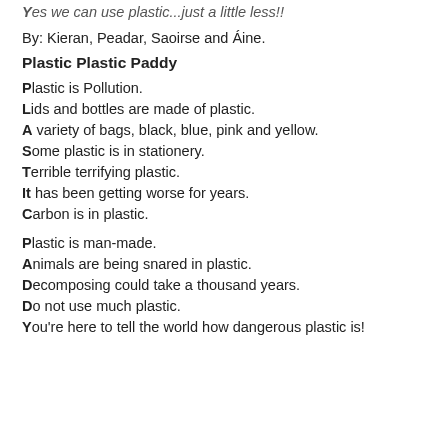Yes we can use plastic...just a little less!!
By: Kieran, Peadar, Saoirse and Áine.
Plastic Plastic Paddy
Plastic is Pollution.
Lids and bottles are made of plastic.
A variety of bags, black, blue, pink and yellow.
Some plastic is in stationery.
Terrible terrifying plastic.
It has been getting worse for years.
Carbon is in plastic.
Plastic is man-made.
Animals are being snared in plastic.
Decomposing could take a thousand years.
Do not use much plastic.
You're here to tell the world how dangerous plastic is!